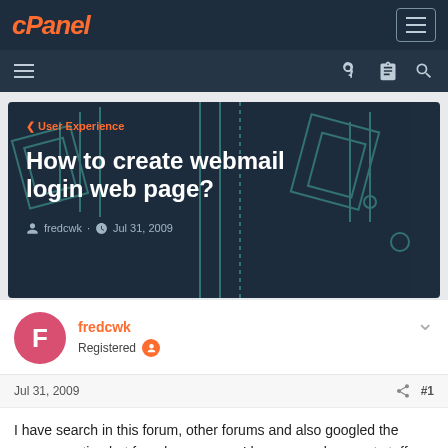cPanel
[Figure (screenshot): cPanel forum top navigation bar with logo and hamburger menu icon]
[Figure (screenshot): Secondary navigation bar with hamburger menu on left and key, clipboard, search icons on right]
How to create webmail login web page?
‹ User Experience
fredcwk · Jul 31, 2009
fredcwk
Registered
Jul 31, 2009
#1
I have search in this forum, other forums and also googled the same question but found no answer. I hope cpanel support staff